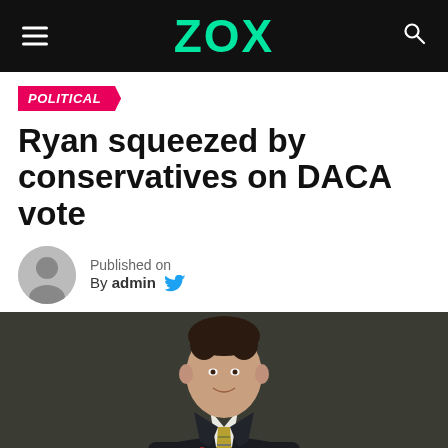ZOX
POLITICAL
Ryan squeezed by conservatives on DACA vote
Published on
By admin
[Figure (photo): Portrait photo of a man in a dark suit with a striped tie, against a dark background. The subject appears to be Paul Ryan.]